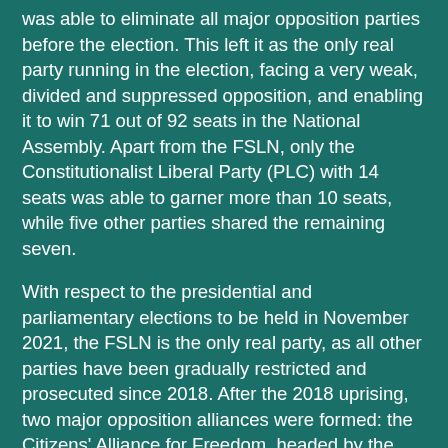was able to eliminate all major opposition parties before the election. This left it as the only real party running in the election, facing a very weak, divided and suppressed opposition, and enabling it to win 71 out of 92 seats in the National Assembly. Apart from the FSLN, only the Constitutionalist Liberal Party (PLC) with 14 seats was able to garner more than 10 seats, while five other parties shared the remaining seven.
With respect to the presidential and parliamentary elections to be held in November 2021, the FSLN is the only real party, as all other parties have been gradually restricted and prosecuted since 2018. After the 2018 uprising, two major opposition alliances were formed: the Citizens' Alliance for Freedom, headed by the Citizens for Freedom (CxL) party; and the National Coalition consisting of the Democratic Restoration Party (PRD), the Nicaraguan Democratic Force (FDN), Blue and White National Unity and the peasant movement EFE. CxL and PRD, which were founded in 2017 for the municipal elections, were then reactivated by the two opposition groups, since they still had legal status and could run for the presidential elections. (However, following the end of the review period, the PRD was